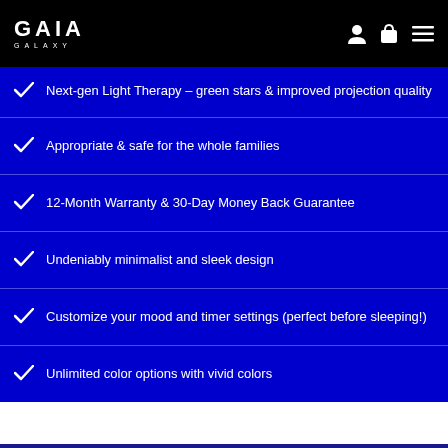GAIA GALAXY
Next-gen Light Therapy – green stars & improved projection quality
Appropriate & safe for the whole families
12-Month Warranty & 30-Day Money Back Guarantee
Undeniably minimalist and sleek design
Customize your mood and timer settings (perfect before sleeping!)
Unlimited color options with vivid colors